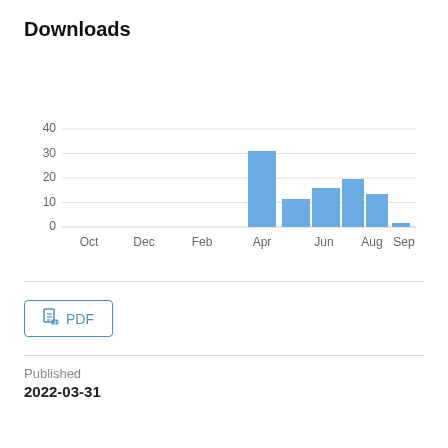Downloads
[Figure (bar-chart): Downloads]
PDF
Published
2022-03-31